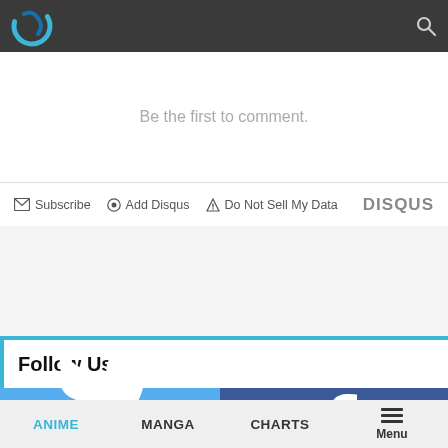[Figure (logo): Website logo - stylized circular arrow/swirl icon in blue/teal on dark grey navigation bar]
Be the first to comment.
Subscribe  Add Disqus  Do Not Sell My Data  DISQUS
Follow Us:
[Figure (infographic): Social media icons grid: Twitter (blue bird icon), Facebook (dark blue f icon), Tumblr and Pinterest icons]
ANIME  MANGA  CHARTS  Menu